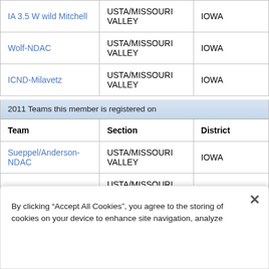| Team | Section | District |
| --- | --- | --- |
| IA 3.5 W wild Mitchell | USTA/MISSOURI VALLEY | IOWA |
| Wolf-NDAC | USTA/MISSOURI VALLEY | IOWA |
| ICND-Milavetz | USTA/MISSOURI VALLEY | IOWA |
2011 Teams this member is registered on
| Team | Section | District |
| --- | --- | --- |
| Sueppel/Anderson-NDAC | USTA/MISSOURI VALLEY | IOWA |
| ICN/Milavetz | USTA/MISSOURI VALLEY | IOWA |
2010 Teams this member is registered on
| Team | Section | District |
| --- | --- | --- |
| Hooley-NDAC | USTA/MISSOURI VALLEY | IOWA |
| ICN/Milavetz | USTA/MISSOURI VALLEY | IOWA |
2009 Teams this member is registered on
By clicking “Accept All Cookies”, you agree to the storing of cookies on your device to enhance site navigation, analyze